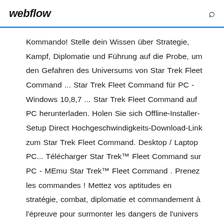webflow
Kommando! Stelle dein Wissen über Strategie, Kampf, Diplomatie und Führung auf die Probe, um den Gefahren des Universums von Star Trek Fleet Command ... Star Trek Fleet Command für PC - Windows 10,8,7 ... Star Trek Fleet Command auf PC herunterladen. Holen Sie sich Offline-Installer-Setup Direct Hochgeschwindigkeits-Download-Link zum Star Trek Fleet Command. Desktop / Laptop PC... Télécharger Star Trek™ Fleet Command sur PC - MEmu Star Trek™ Fleet Command . Prenez les commandes ! Mettez vos aptitudes en stratégie, combat, diplomatie et commandement à l'épreuve pour surmonter les dangers de l'univers de Star Trek Fleet